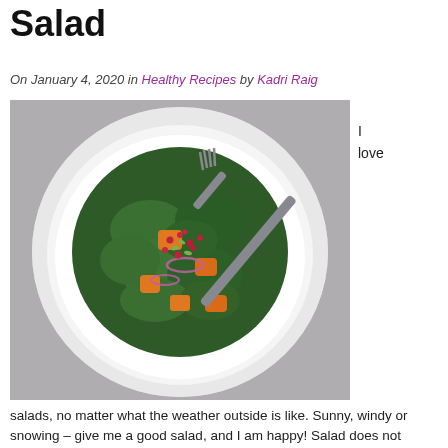Salad
On January 4, 2020 in Healthy Recipes by Kadri Raig
[Figure (photo): Top-down view of a white plate with a kale salad topped with orange squash chunks, pomegranate seeds, red onion slices, and seeds, with a fork resting on the plate, on a gray concrete surface.]
I love
salads, no matter what the weather outside is like. Sunny, windy or snowing – give me a good salad, and I am happy! Salad does not mean a pile of greens and a